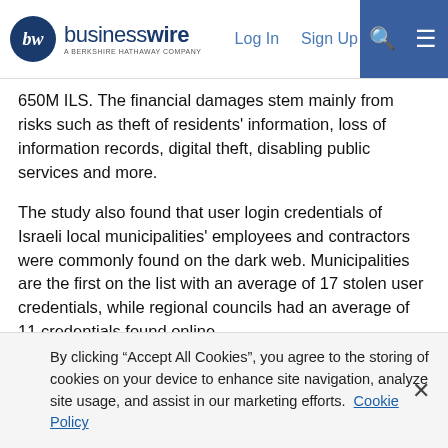businesswire — A BERKSHIRE HATHAWAY COMPANY | Log In | Sign Up
650M ILS. The financial damages stem mainly from risks such as theft of residents' information, loss of information records, digital theft, disabling public services and more.
The study also found that user login credentials of Israeli local municipalities' employees and contractors were commonly found on the dark web. Municipalities are the first on the list with an average of 17 stolen user credentials, while regional councils had an average of 11 credentials found online.
Nir Perry, Cyberwrite's CEO, mentioned that: "Municipalities in the United States and Europe are subject to constant cyber threats. In the first nine months of 2019, over 600 successful cyber-attacks on municipalities and urban authorities in the United States were
By clicking “Accept All Cookies”, you agree to the storing of cookies on your device to enhance site navigation, analyze site usage, and assist in our marketing efforts.  Cookie Policy